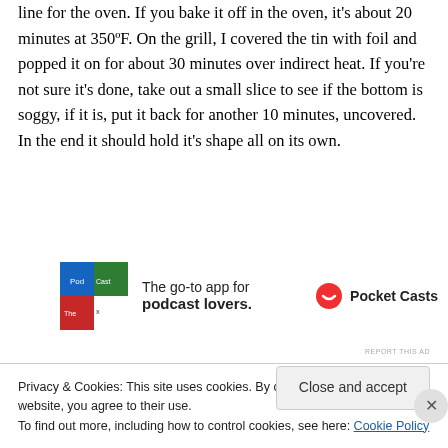line for the oven. If you bake it off in the oven, it's about 20 minutes at 350ºF. On the grill, I covered the tin with foil and popped it on for about 30 minutes over indirect heat. If you're not sure it's done, take out a small slice to see if the bottom is soggy, if it is, put it back for another 10 minutes, uncovered. In the end it should hold it's shape all on its own.
[Figure (other): Pocket Casts advertisement banner: colorful app icon on left, text 'The go-to app for podcast lovers.' in center, Pocket Casts logo and name on right]
REPORT THIS AD
Privacy & Cookies: This site uses cookies. By continuing to use this website, you agree to their use. To find out more, including how to control cookies, see here: Cookie Policy